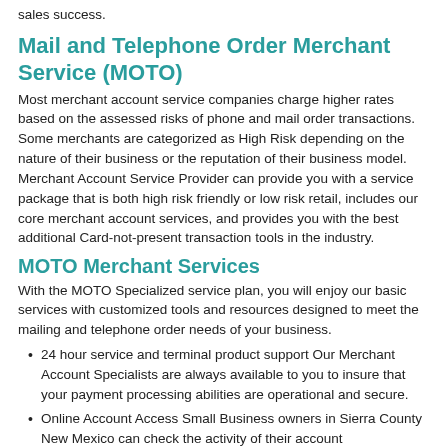sales success.
Mail and Telephone Order Merchant Service (MOTO)
Most merchant account service companies charge higher rates based on the assessed risks of phone and mail order transactions. Some merchants are categorized as High Risk depending on the nature of their business or the reputation of their business model. Merchant Account Service Provider can provide you with a service package that is both high risk friendly or low risk retail, includes our core merchant account services, and provides you with the best additional Card-not-present transaction tools in the industry.
MOTO Merchant Services
With the MOTO Specialized service plan, you will enjoy our basic services with customized tools and resources designed to meet the mailing and telephone order needs of your business.
24 hour service and terminal product support Our Merchant Account Specialists are always available to you to insure that your payment processing abilities are operational and secure.
Online Account Access Small Business owners in Sierra County New Mexico can check the activity of their account